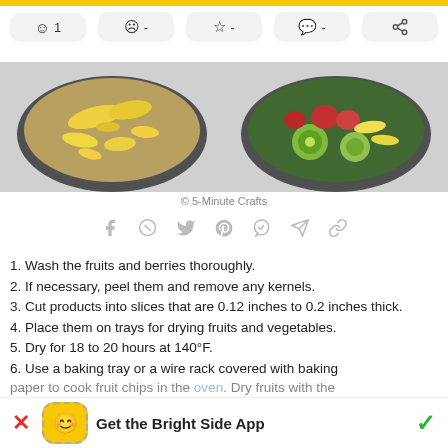[Figure (screenshot): Row of reaction/action buttons: smiley face with 1, sad face with -, star with -, comment with -, share icon]
[Figure (photo): Two bowls of fruit/acai smoothie bowls with banana slices, berries, and kiwi on a light background]
© 5-Minute Crafts
[Figure (infographic): Row of social sharing icons: Facebook, WhatsApp, Twitter, Pinterest, Messenger, Telegram, link]
1. Wash the fruits and berries thoroughly.
2. If necessary, peel them and remove any kernels.
3. Cut products into slices that are 0.12 inches to 0.2 inches thick.
4. Place them on trays for drying fruits and vegetables.
5. Dry for 18 to 20 hours at 140°F.
6. Use a baking tray or a wire rack covered with baking paper to cook fruit chips in the oven. Dry fruits with the
Get the Bright Side App